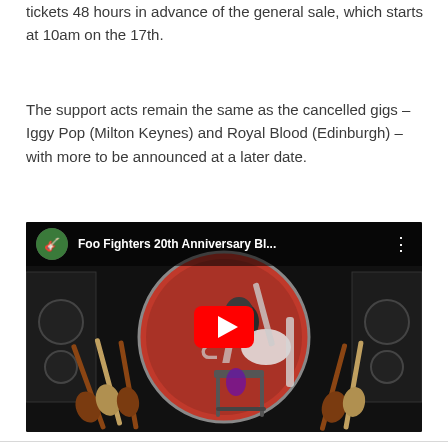tickets 48 hours in advance of the general sale, which starts at 10am on the 17th.
The support acts remain the same as the cancelled gigs – Iggy Pop (Milton Keynes) and Royal Blood (Edinburgh) – with more to be announced at a later date.
[Figure (screenshot): YouTube video thumbnail for 'Foo Fighters 20th Anniversary Bl...' showing a guitarist (Dave Grohl) sitting in a chair on stage playing a white guitar, surrounded by multiple guitars, with a large Foo Fighters logo drum backdrop. A red YouTube play button is overlaid in the center.]